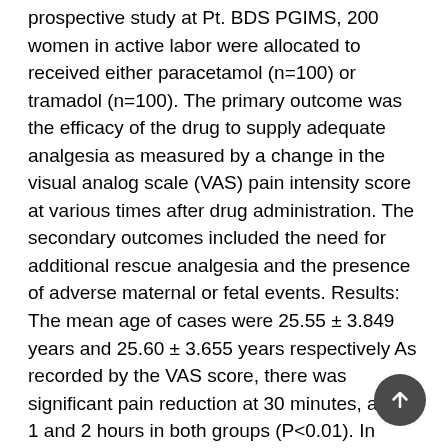prospective study at Pt. BDS PGIMS, 200 women in active labor were allocated to received either paracetamol (n=100) or tramadol (n=100). The primary outcome was the efficacy of the drug to supply adequate analgesia as measured by a change in the visual analog scale (VAS) pain intensity score at various times after drug administration. The secondary outcomes included the need for additional rescue analgesia and the presence of adverse maternal or fetal events. Results: The mean age of cases were 25.55 ± 3.849 years and 25.60 ± 3.655 years respectively As recorded by the VAS score, there was significant pain reduction at 30 minutes, and at 1 and 2 hours in both groups (P<0.01). In comparison, between group I and II, a significantly higher rate of nausea and vomiting in tramadol group (14% vs 8%; P < 0.03) patients. Similarly, drowsiness (0% vs 11%; P<0.01), dry mouth (0% vs 8%; P<0.04) and dizziness (0% vs 9%; P<0.02)